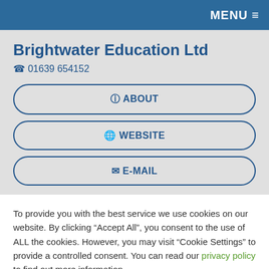MENU ≡
Brightwater Education Ltd
☎ 01639 654152
ℹ ABOUT
🌐 WEBSITE
✉ E-MAIL
To provide you with the best service we use cookies on our website. By clicking "Accept All", you consent to the use of ALL the cookies. However, you may visit "Cookie Settings" to provide a controlled consent. You can read our privacy policy to find out more information.
Cookie Settings | Accept All